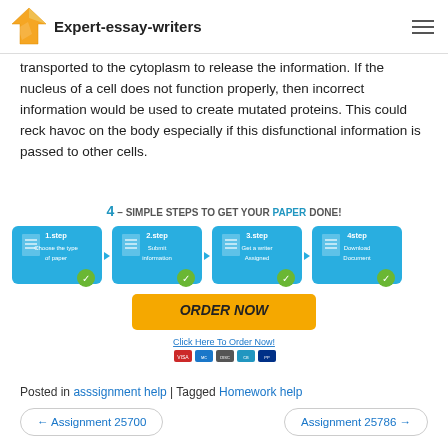Expert-essay-writers
transported to the cytoplasm to release the information. If the nucleus of a cell does not function properly, then incorrect information would be used to create mutated proteins. This could reck havoc on the body especially if this disfunctional information is passed to other cells.
[Figure (infographic): 4 Simple Steps to Get Your Paper Done infographic showing 4 blue steps: 1.step Choose the type of paper, 2.step Submit information, 3.step Get a writer Assigned, 4step Download Document, with ORDER NOW button and Click Here To Order Now link with payment icons.]
Posted in asssignment help | Tagged Homework help
← Assignment 25700    Assignment 25786 →